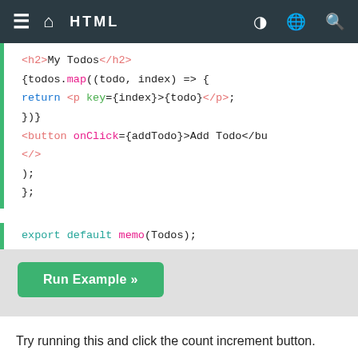HTML
[Figure (screenshot): Syntax-highlighted code block showing JSX with h2, todos.map, return, and export default memo(Todos)]
Run Example »
Try running this and click the count increment button.
You will notice that the Todos component re-renders even